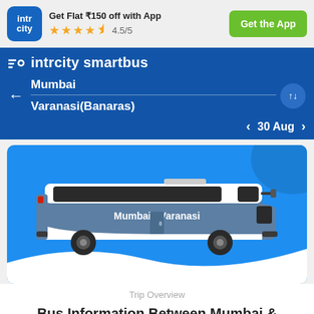[Figure (screenshot): IntrCity SmartBus app promotional banner showing logo, 4.5/5 star rating, offer text 'Get Flat ₹150 off with App', and 'Get the App' green button]
[Figure (screenshot): Blue navigation bar with IntrCity SmartBus brand logo, route selection showing Mumbai to Varanasi(Banaras), swap button, date 30 Aug with prev/next arrows]
[Figure (illustration): Blue card showing a side-view illustration of a blue and white intercity bus with text 'Mumbai - Varanasi' on its side]
Trip Overview
Bus Information Between Mumbai &